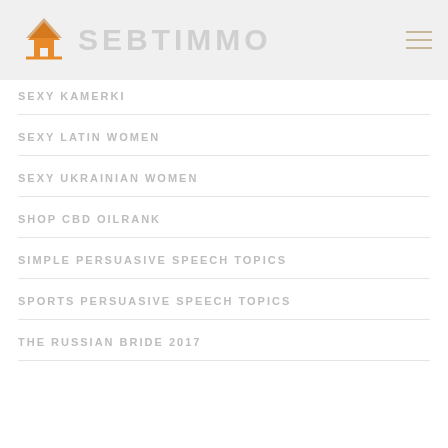SEBTIMMO
SEXY KAMERKI
SEXY LATIN WOMEN
SEXY UKRAINIAN WOMEN
SHOP CBD OILRANK
SIMPLE PERSUASIVE SPEECH TOPICS
SPORTS PERSUASIVE SPEECH TOPICS
THE RUSSIAN BRIDE 2017